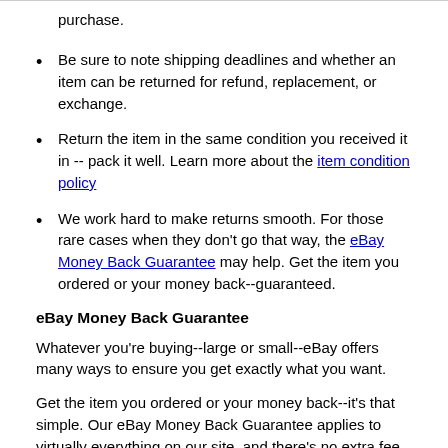purchase.
Be sure to note shipping deadlines and whether an item can be returned for refund, replacement, or exchange.
Return the item in the same condition you received it in -- pack it well. Learn more about the item condition policy
We work hard to make returns smooth. For those rare cases when they don't go that way, the eBay Money Back Guarantee may help. Get the item you ordered or your money back--guaranteed.
eBay Money Back Guarantee
Whatever you're buying--large or small--eBay offers many ways to ensure you get exactly what you want.
Get the item you ordered or your money back--it's that simple. Our eBay Money Back Guarantee applies to virtually everything on our site, and there's no extra fee for coverage. It's automatic and covers your purchase price plus original